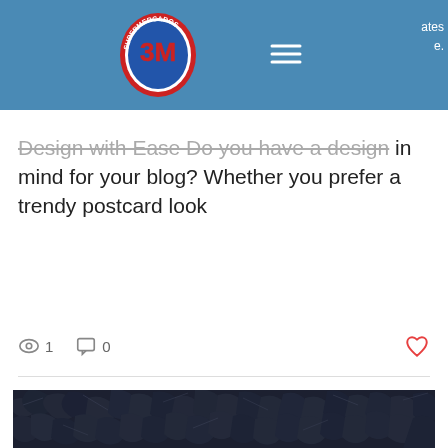3M Supermercados — navigation header
Design with Ease Do you have a design in mind for your blog? Whether you prefer a trendy postcard look
1 views   0 comments   like
[Figure (photo): Close-up photograph of loose black tea leaves filling the entire frame, dark navy/black tones]